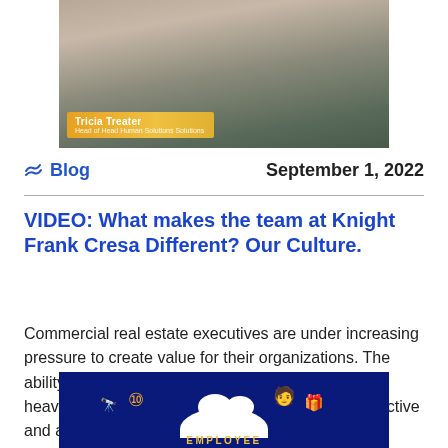[Figure (photo): Photo of Tricia Treater with a name lower-third banner on an orange/gold gradient background]
Blog   September 1, 2022
VIDEO: What makes the team at Knight Frank Cresa Different? Our Culture.
Commercial real estate executives are under increasing pressure to create value for their organizations. The ability to create value for an organization depends heavily on a service provider who is extremely proactive and agile.
[Figure (infographic): Dark blue infographic panel with employee-related icons (fork/spoon, figure, gift box, telescope) and cloud shape, with text 'EMPLOYEE' at bottom]